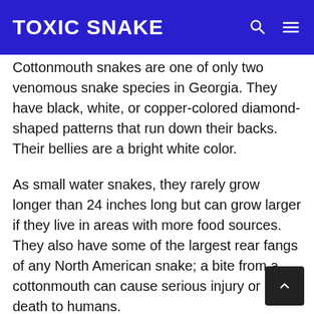TOXIC SNAKE
Cottonmouth snakes are one of only two venomous snake species in Georgia. They have black, white, or copper-colored diamond-shaped patterns that run down their backs. Their bellies are a bright white color.
As small water snakes, they rarely grow longer than 24 inches long but can grow larger if they live in areas with more food sources. They also have some of the largest rear fangs of any North American snake; a bite from a cottonmouth can cause serious injury or even death to humans.
Cottonmouths are also popularly known as water moccasins (an alternative name for them), however, true water moccasins belong to a